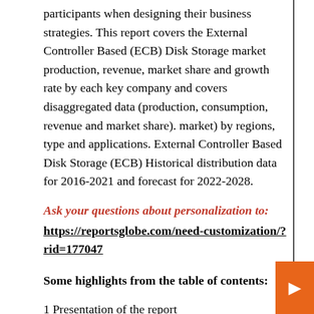participants when designing their business strategies. This report covers the External Controller Based (ECB) Disk Storage market production, revenue, market share and growth rate by each key company and covers disaggregated data (production, consumption, revenue and market share). market) by regions, type and applications. External Controller Based Disk Storage (ECB) Historical distribution data for 2016-2021 and forecast for 2022-2028.
Ask your questions about personalization to:
https://reportsglobe.com/need-customization/?rid=177047
Some highlights from the table of contents:
1 Presentation of the report